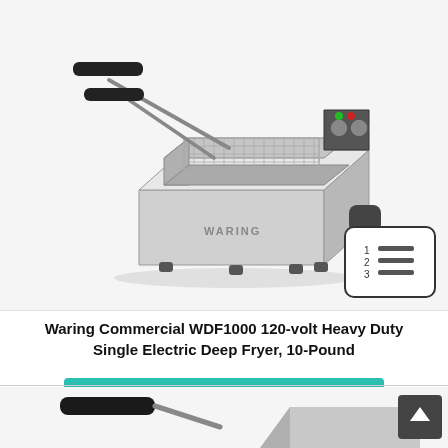[Figure (photo): Waring Commercial WDF1000 stainless steel electric deep fryer with wire basket and black handles, shown from a front-left angle. Control panel with knobs and indicator light visible at top right. A numbered-list icon overlay in lower-right corner of the image area.]
Waring Commercial WDF1000 120-volt Heavy Duty Single Electric Deep Fryer, 10-Pound
CHECK DISCOUNTED PRICE
[Figure (photo): Partial view of another deep fryer product at the bottom of the page, cropped.]